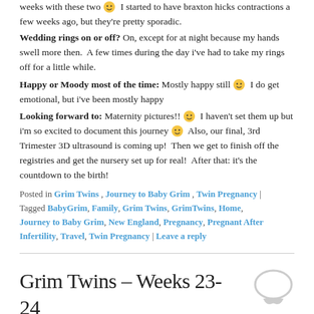weeks with these two 🙂 I started to have braxton hicks contractions a few weeks ago, but they're pretty sporadic.
Wedding rings on or off? On, except for at night because my hands swell more then. A few times during the day i've had to take my rings off for a little while.
Happy or Moody most of the time: Mostly happy still 🙂 I do get emotional, but i've been mostly happy
Looking forward to: Maternity pictures!! 🙂 I haven't set them up but i'm so excited to document this journey 🙂 Also, our final, 3rd Trimester 3D ultrasound is coming up! Then we get to finish off the registries and get the nursery set up for real! After that: it's the countdown to the birth!
Posted in Grim Twins, Journey to Baby Grim, Twin Pregnancy | Tagged BabyGrim, Family, Grim Twins, GrimTwins, Home, Journey to Baby Grim, New England, Pregnancy, Pregnant After Infertility, Travel, Twin Pregnancy | Leave a reply
Grim Twins – Weeks 23-24
Posted on March 2016